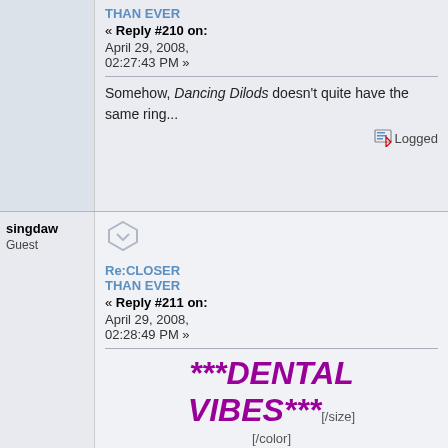Re:CLOSER THAN EVER « Reply #210 on: April 29, 2008, 02:27:43 PM »
Somehow, Dancing Dilods doesn't quite have the same ring...
Logged
singdaw
Guest
Re:CLOSER THAN EVER « Reply #211 on: April 29, 2008, 02:28:49 PM »
***DENTAL VIBES***[/size] [/color] to DR Jane!!! [/size][/color]